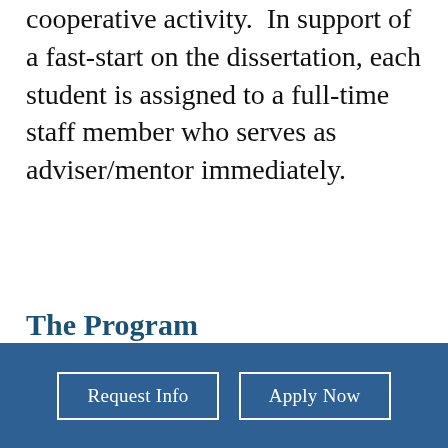cooperative activity.  In support of a fast-start on the dissertation, each student is assigned to a full-time staff member who serves as adviser/mentor immediately.
The Program
The 54-credit program provides a convenient hybrid course schedule that takes place on-campus and online. The course-work can be completed in 2 years, while the dissertation and the degree can be completed in an additional semester depending on student focus.  Weekend sessions for the first year meet once in April, September, and November.  For the second year,